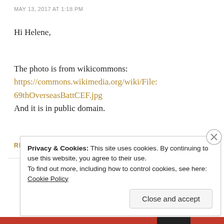MAY 13, 2017 AT 1:18 PM
Hi Helene,
The photo is from wikicommons:
https://commons.wikimedia.org/wiki/File:69thOverseasBattCEF.jpg
And it is in public domain.
REPLY
Privacy & Cookies: This site uses cookies. By continuing to use this website, you agree to their use.
To find out more, including how to control cookies, see here: Cookie Policy
Close and accept